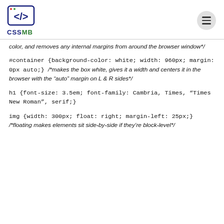[Figure (logo): CSSMB logo with code brackets icon and text CSSMB]
color, and removes any internal margins from around the browser window*/
#container {background-color: white; width: 960px; margin: 0px auto;} /*makes the box white, gives it a width and centers it in the browser with the "auto" margin on L & R sides*/
h1 {font-size: 3.5em; font-family: Cambria, Times, "Times New Roman", serif;}
img {width: 300px; float: right; margin-left: 25px;} /*floating makes elements sit side-by-side if they're block-level*/